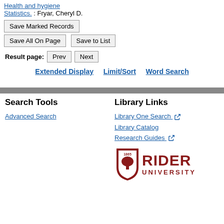Health and hygiene Statistics. : Fryar, Cheryl D.
Save Marked Records | Save All On Page | Save to List
Result page: Prev Next
Extended Display   Limit/Sort   Word Search
Search Tools
Advanced Search
Library Links
Library One Search ↗
Library Catalog
Research Guides ↗
[Figure (logo): Rider University logo with shield and text reading '1865 RIDER UNIVERSITY' in dark red/maroon color]